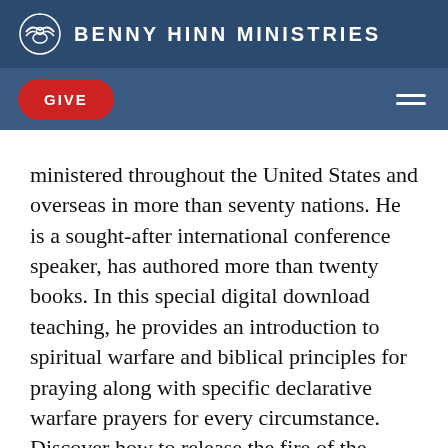BENNY HINN MINISTRIES
GIVE
ministered throughout the United States and overseas in more than seventy nations. He is a sought-after international conference speaker, has authored more than twenty books. In this special digital download teaching, he provides an introduction to spiritual warfare and biblical principles for praying along with specific declarative warfare prayers for every circumstance. Discover how to release the fire of the living God to preach, prophesy, heal